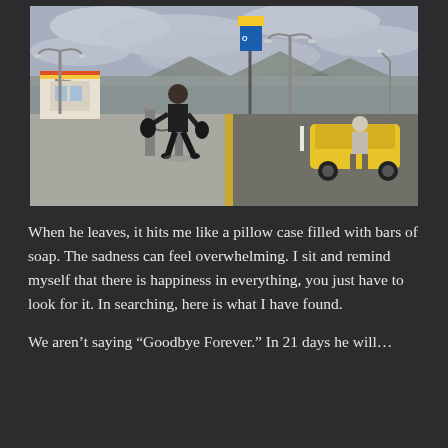[Figure (photo): A person dressed in black carrying bags walking away from the camera at what appears to be an airport drop-off/pickup area. There is a yellow car, street lamps, a Budget car rental booth, overcast sky, and road markings visible.]
When he leaves, it hits me like a pillow case filled with bars of soap.  The sadness can feel overwhelming.  I sit and remind myself that there is happiness in everything, you just have to look for it.  In searching, here is what I have found.
We aren't saying "Goodbye Forever."  In 21 days he will...